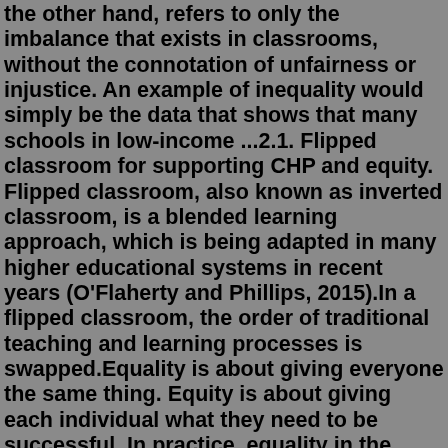the other hand, refers to only the imbalance that exists in classrooms, without the connotation of unfairness or injustice. An example of inequality would simply be the data that shows that many schools in low-income ...2.1. Flipped classroom for supporting CHP and equity. Flipped classroom, also known as inverted classroom, is a blended learning approach, which is being adapted in many higher educational systems in recent years (O'Flaherty and Phillips, 2015).In a flipped classroom, the order of traditional teaching and learning processes is swapped.Equality is about giving everyone the same thing. Equity is about giving each individual what they need to be successful. In practice, equality in the classroom might translate into every student receiving access to the literature that will be read. Equity, on the other hand, takes into account the unique needs of each individual student.Mar 19, 2020 · Equity in the classroom, or supporting the outcomes of students of all backgrounds and abilities, is essential to a productive learning environment. However,